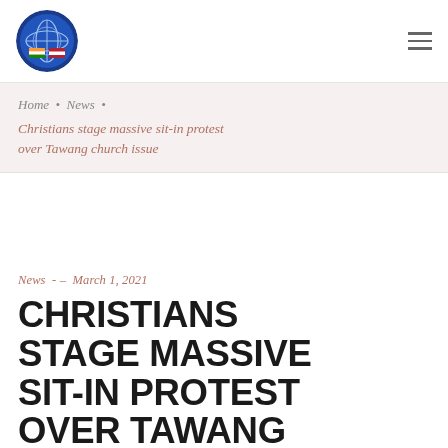[Figure (logo): Circular organization logo with globe and flags]
Home • News • Christians stage massive sit-in protest over Tawang church issue
News - – March 1, 2021
CHRISTIANS STAGE MASSIVE SIT-IN PROTEST OVER TAWANG